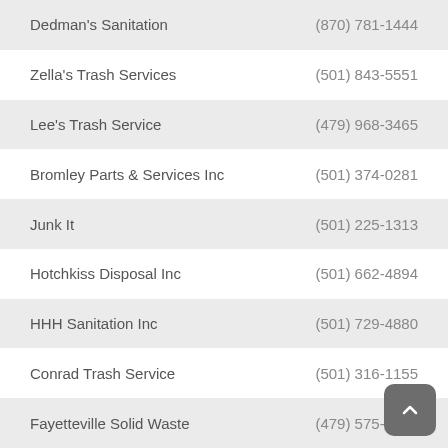Dedman's Sanitation — (870) 781-1444
Zella's Trash Services — (501) 843-5551
Lee's Trash Service — (479) 968-3465
Bromley Parts & Services Inc — (501) 374-0281
Junk It — (501) 225-1313
Hotchkiss Disposal Inc — (501) 662-4894
HHH Sanitation Inc — (501) 729-4880
Conrad Trash Service — (501) 316-1155
Fayetteville Solid Waste — (479) 575-8398